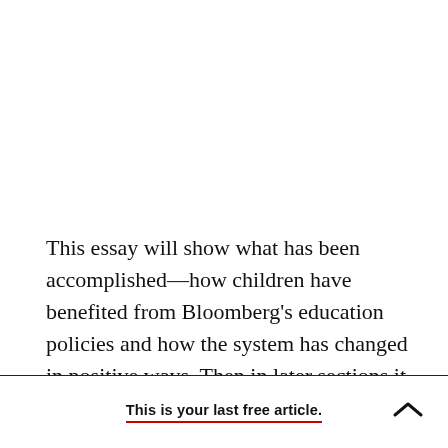This essay will show what has been accomplished—how children have benefited from Bloomberg's education policies and how the system has changed in positive ways. Then in later sections it discusses, first, how the positive results came about; and
This is your last free article.